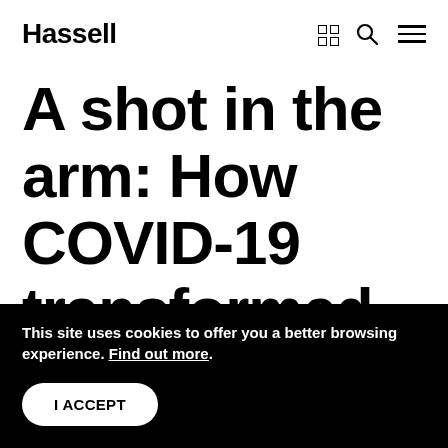Hassell
A shot in the arm: How COVID-19 transformed
This site uses cookies to offer you a better browsing experience. Find out more.
I ACCEPT